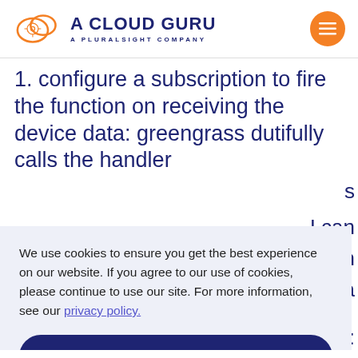[Figure (logo): A Cloud Guru logo with cloud icon and text 'A CLOUD GURU — A PLURALSIGHT COMPANY', plus orange menu button]
1. configure a subscription to fire the function on receiving the device data: greengrass dutifully calls the handler
We use cookies to ensure you get the best experience on our website. If you agree to our use of cookies, please continue to use our site. For more information, see our privacy policy.
Continue